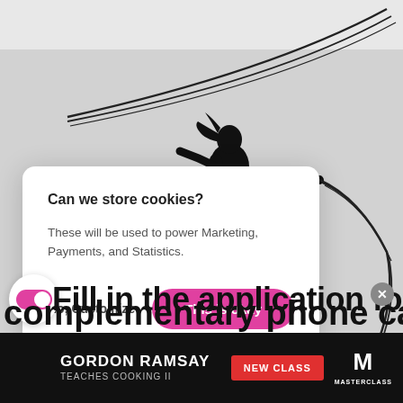[Figure (illustration): Background showing a gymnast silhouette with ribbon/rope against a light grey background]
Can we store cookies?
These will be used to power Marketing, Payments, and Statistics.
No, Customize
This is okay
Fill in the application form
[Figure (screenshot): MasterClass advertisement banner: GORDON RAMSAY TEACHES COOKING II - NEW CLASS]
complementary phone call